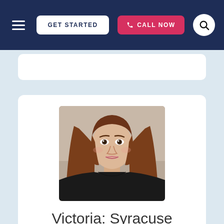GET STARTED | CALL NOW
[Figure (photo): Headshot photo of a young woman with long reddish-brown hair wearing a black top, against a light background]
Victoria: Syracuse University ACT